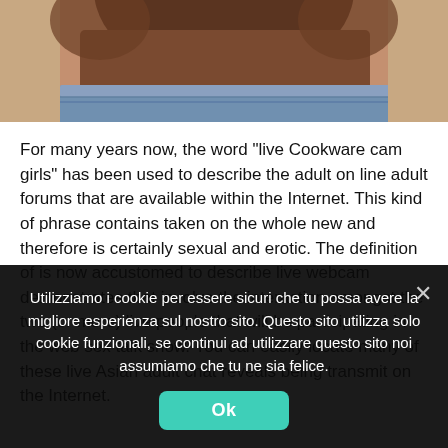[Figure (photo): Cropped photo of a person's midriff wearing denim shorts, dark skin, against a light background]
For many years now, the word "live Cookware cam girls" has been used to describe the adult on line adult forums that are available within the Internet. This kind of phrase contains taken on the whole new and therefore is certainly sexual and erotic. The definition of is now accustomed to describe live webcam demonstrates that involve the interaction amongst the two (or more) live people that will be participating in the web sex talk show. You can easily locate many of these live Asian adult chat reveals being transmit on the Internet.
Utilizziamo i cookie per essere sicuri che tu possa avere la migliore esperienza sul nostro sito. Questo sito utilizza solo cookie funzionali, se continui ad utilizzare questo sito noi assumiamo che tu ne sia felice.